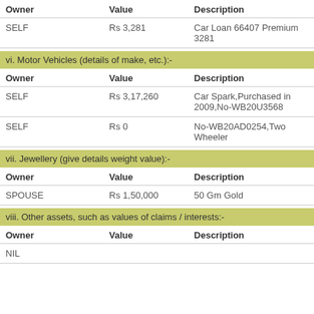| Owner | Value | Description |
| --- | --- | --- |
| SELF | Rs 3,281 | Car Loan 66407 Premium 3281 |
vi. Motor Vehicles (details of make, etc.):-
| Owner | Value | Description |
| --- | --- | --- |
| SELF | Rs 3,17,260 | Car Spark,Purchased in 2009,No-WB20U3568 |
| SELF | Rs 0 | No-WB20AD0254,Two Wheeler |
vii. Jewellery (give details weight value):-
| Owner | Value | Description |
| --- | --- | --- |
| SPOUSE | Rs 1,50,000 | 50 Gm Gold |
viii. Other assets, such as values of claims / interests:-
| Owner | Value | Description |
| --- | --- | --- |
| NIL |  |  |